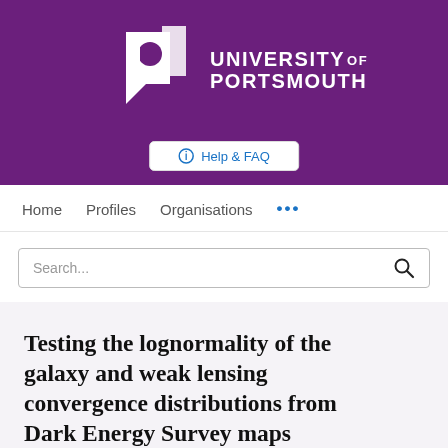[Figure (logo): University of Portsmouth logo with white stylized 'P' mark and white text 'UNIVERSITY OF PORTSMOUTH' on purple background]
Help & FAQ
Home   Profiles   Organisations   ...
Search...
Testing the lognormality of the galaxy and weak lensing convergence distributions from Dark Energy Survey maps